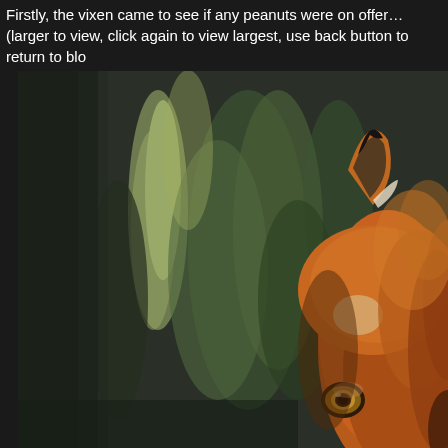Firstly, the vixen came to see if any peanuts were on offer…(larger to view, click again to view largest, use back button to return to blo
[Figure (photo): Close-up photograph of a red fox (vixen) peeking into frame from the right side, showing one ear with black tip and orange fur, one eye visible at bottom right, against a soft blurred green foliage background.]